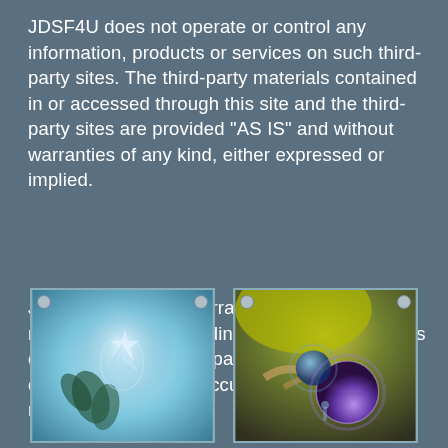JDSF4U does not operate or control any information, products or services on such third-party sites. The third-party materials contained in or accessed through this site and the third-party sites are provided "AS IS" and without warranties of any kind, either expressed or implied.
JDSF4U  does not warrant or make any representations regarding the use or the results of the use of the third-party materials in terms of their correctness, accuracy, timeliness, reliability or otherwise.
[Figure (illustration): Framed illustration with screw corners showing a glowing blue abstract scene with leaf/floral elements]
[Figure (illustration): Framed illustration with screw corners showing a colorful abstract scene with yellow and purple glowing spheres and hands]